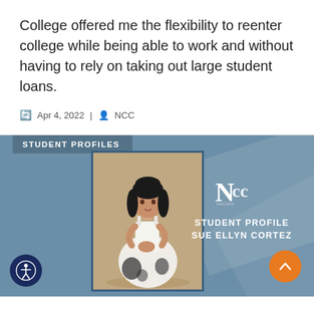College offered me the flexibility to reenter college while being able to work and without having to rely on taking out large student loans.
Apr 4, 2022 | NCC
[Figure (infographic): Student Profiles banner with photo of Sue Ellyn Cortez, NCC logo, and 'STUDENT PROFILE SUE ELLYN CORTEZ' text on a blue-grey background]